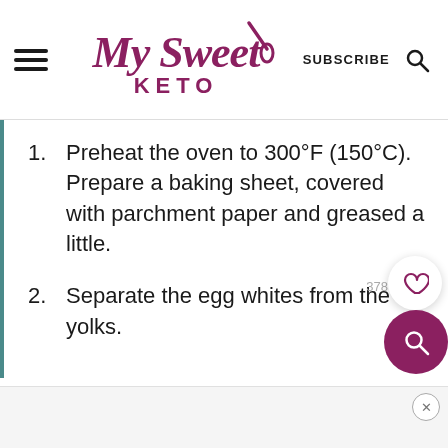My Sweet Keto | SUBSCRIBE
Preheat the oven to 300°F (150°C). Prepare a baking sheet, covered with parchment paper and greased a little.
Separate the egg whites from the yolks.